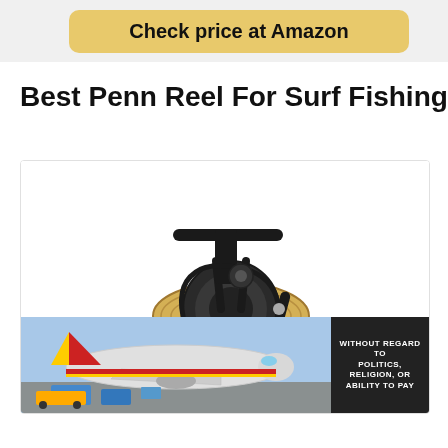[Figure (other): Check price at Amazon button - golden/yellow rounded rectangle button with bold text]
Best Penn Reel For Surf Fishing
[Figure (photo): Penn fishing reel (spinning reel) shown against white background with black frame and gold spool, with an advertisement banner at the bottom showing an airplane being loaded with cargo, and a dark text box saying WITHOUT REGARD TO POLITICS, RELIGION, OR ABILITY TO PAY]